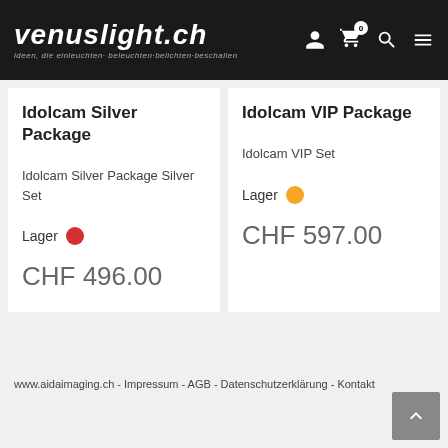venuslight.ch — ideen, die einleuchten· beleuchten·belichten·beschallen
Idolcam Silver Package
Idolcam Silver Package Silver Set
Lager ● CHF 496.00
Idolcam VIP Package
Idolcam VIP Set
Lager ● CHF 597.00
www.aidaimaging.ch - Impressum - AGB - Datenschutzerklärung - Kontakt